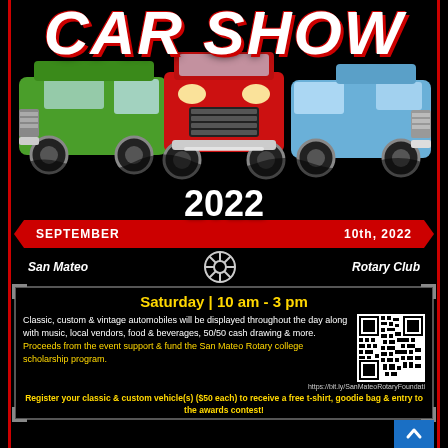CAR SHOW
[Figure (illustration): Three classic cars: green vintage van on left, red classic car front-facing in center, blue classic car on right, on black background]
2022
SEPTEMBER    10th, 2022
San Mateo    Rotary Club
Saturday | 10 am - 3 pm
Classic, custom & vintage automobiles will be displayed throughout the day along with music, local vendors, food & beverages, 50/50 cash drawing & more. Proceeds from the event support & fund the San Mateo Rotary college scholarship program.
https://bit.ly/SanMateoRotaryFoundati
Register your classic & custom vehicle(s) ($50 each) to receive a free t-shirt, goodie bag & entry to the awards contest!